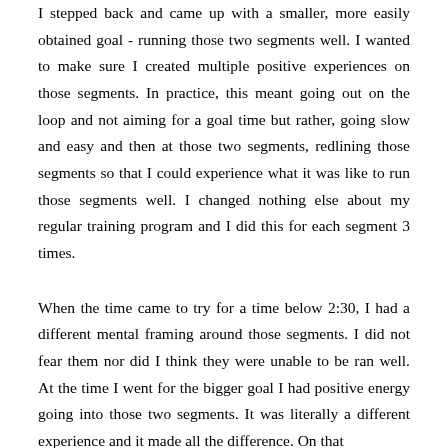I stepped back and came up with a smaller, more easily obtained goal - running those two segments well. I wanted to make sure I created multiple positive experiences on those segments. In practice, this meant going out on the loop and not aiming for a goal time but rather, going slow and easy and then at those two segments, redlining those segments so that I could experience what it was like to run those segments well. I changed nothing else about my regular training program and I did this for each segment 3 times.
When the time came to try for a time below 2:30, I had a different mental framing around those segments. I did not fear them nor did I think they were unable to be ran well. At the time I went for the bigger goal I had positive energy going into those two segments. It was literally a different experience and it made all the difference. On that